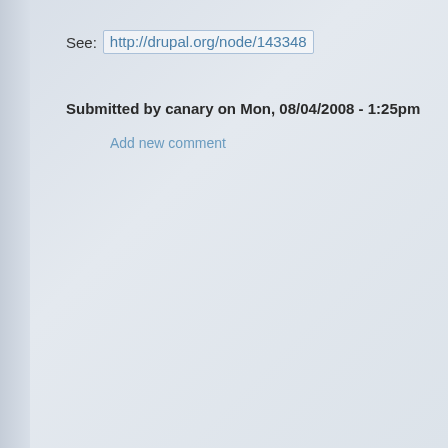See: http://drupal.org/node/143348
Submitted by canary on Mon, 08/04/2008 - 1:25pm
Add new comment